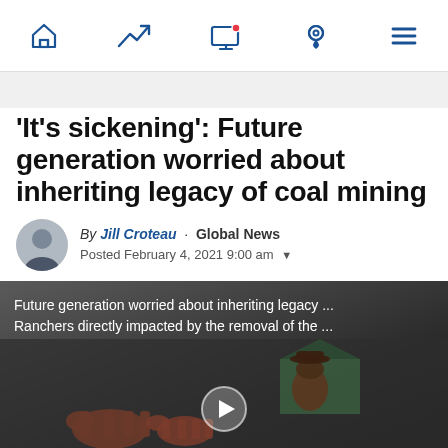Navigation bar with home, trending, screen, location, and menu icons
'It's sickening': Future generation worried about inheriting legacy of coal mining
By Jill Croteau · Global News
Posted February 4, 2021 9:00 am
[Figure (screenshot): Video thumbnail showing a man in a cowboy hat outdoors in winter with horses and a barn in the background. Overlay text reads: 'Future generation worried about inheriting legacy ... Ranchers directly impacted by the removal of the ...' with a play button in the center.]